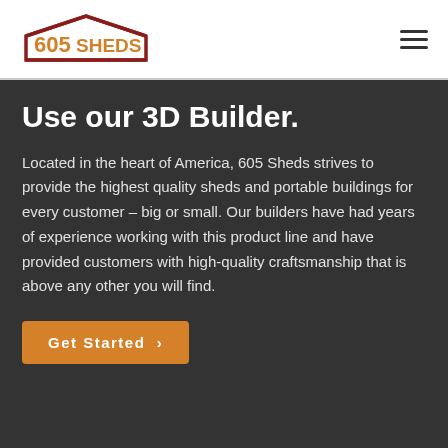[Figure (logo): 605 Sheds logo with house/shed outline in dark red and orange text]
Use our 3D Builder.
Located in the heart of America, 605 Sheds strives to provide the highest quality sheds and portable buildings for every customer – big or small. Our builders have had years of experience working with this product line and have provided customers with high-quality craftsmanship that is above any other you will find.
Get Started ›